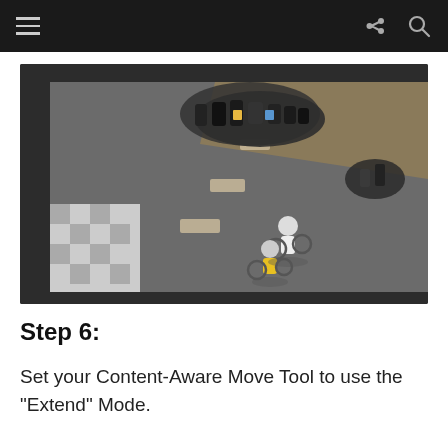[Figure (photo): Aerial view of a road with motorcyclists stopped and two cyclists on bicycles. A stone wall and grassy vegetation run along the edge of the road. Part of a checkered surface is visible in the lower left corner.]
Step 6:
Set your Content-Aware Move Tool to use the “Extend” Mode.